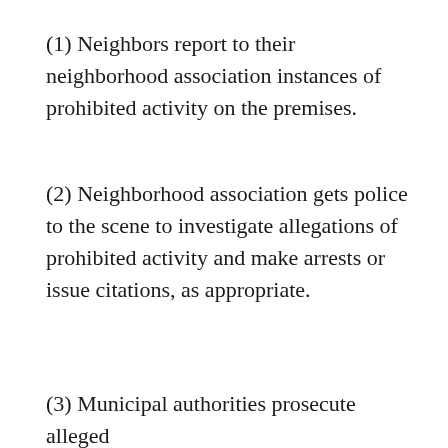(1) Neighbors report to their neighborhood association instances of prohibited activity on the premises.
(2) Neighborhood association gets police to the scene to investigate allegations of prohibited activity and make arrests or issue citations, as appropriate.
(3) Municipal authorities prosecute alleged